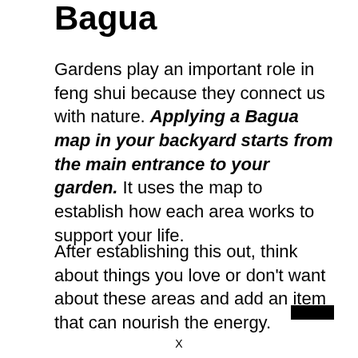Bagua
Gardens play an important role in feng shui because they connect us with nature. Applying a Bagua map in your backyard starts from the main entrance to your garden. It uses the map to establish how each area works to support your life.
After establishing this out, think about things you love or don’t want about these areas and add an item that can nourish the energy.
X